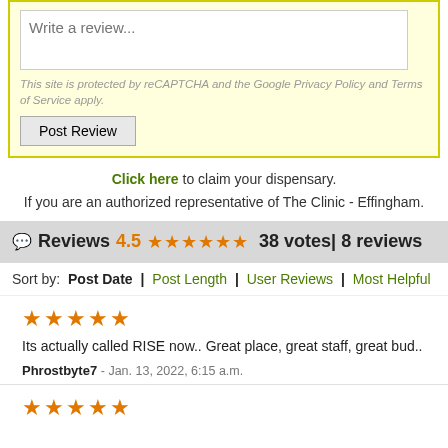Write a review...
This site is protected by reCAPTCHA and the Google Privacy Policy and Terms of Service apply.
Post Review
Click here to claim your dispensary. If you are an authorized representative of The Clinic - Effingham.
Reviews 4.5 ★★★★★ 38 votes| 8 reviews
Sort by: Post Date | Post Length | User Reviews | Most Helpful
★★★★★ Its actually called RISE now.. Great place, great staff, great bud.. Phrostbyte7 - Jan. 13, 2022, 6:15 a.m.
★★★★★